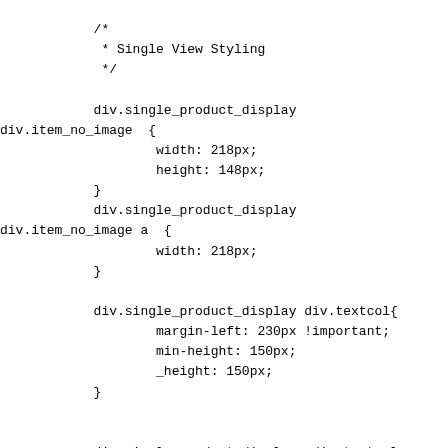/*
 * Single View Styling
 */

            div.single_product_display
div.item_no_image  {
                    width: 218px;
                    height: 148px;
            }
            div.single_product_display
div.item_no_image a  {
                    width: 218px;
            }

            div.single_product_display div.textcol{
                    margin-left: 230px !important;
                    min-height: 150px;
                    _height: 150px;
            }


            div.single_product_display  div.textcol
div.imagecol{
                    position:absolute;

                    margin-left: -230px !important;
            }

            div.single_product_display  div.textcol
div.imagecol a img {